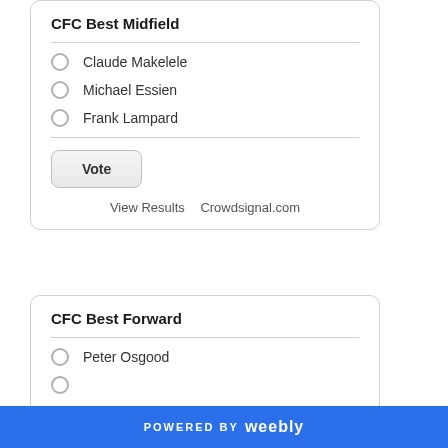CFC Best Midfield
Claude Makelele
Michael Essien
Frank Lampard
Vote
View Results   Crowdsignal.com
CFC Best Forward
Peter Osgood
POWERED BY weebly